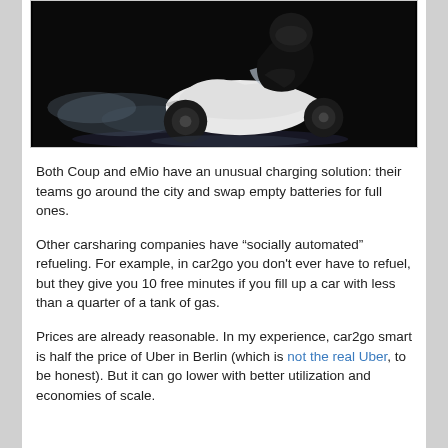[Figure (photo): A person in a black helmet and jacket riding a white electric scooter in a dark studio setting with smoke/vapor around the wheels]
Both Coup and eMio have an unusual charging solution: their teams go around the city and swap empty batteries for full ones.
Other carsharing companies have “socially automated” refueling. For example, in car2go you don't ever have to refuel, but they give you 10 free minutes if you fill up a car with less than a quarter of a tank of gas.
Prices are already reasonable. In my experience, car2go smart is half the price of Uber in Berlin (which is not the real Uber, to be honest). But it can go lower with better utilization and economies of scale.